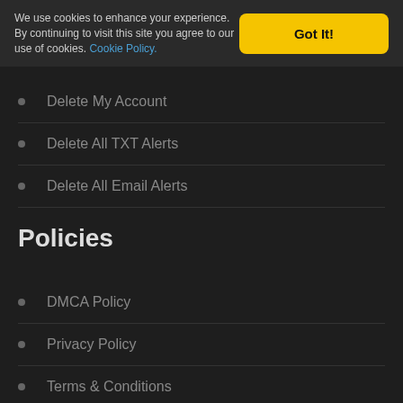We use cookies to enhance your experience. By continuing to visit this site you agree to our use of cookies. Cookie Policy.
Delete My Account
Delete All TXT Alerts
Delete All Email Alerts
Policies
DMCA Policy
Privacy Policy
Terms & Conditions
help & support
Contact Us